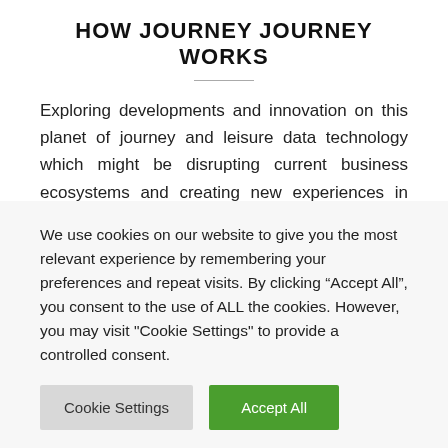HOW JOURNEY JOURNEY WORKS
Exploring developments and innovation on this planet of journey and leisure data technology which might be disrupting current business ecosystems and creating new experiences in tourism and hospitality. An ingenious toy set Gear Housewares 2017 Batman Luggage Tag. I watched...
November 29, 2021
We use cookies on our website to give you the most relevant experience by remembering your preferences and repeat visits. By clicking “Accept All”, you consent to the use of ALL the cookies. However, you may visit "Cookie Settings" to provide a controlled consent.